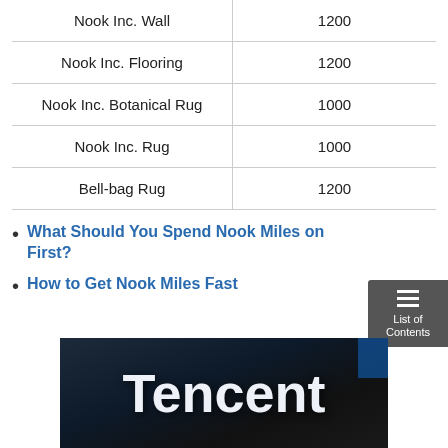| Nook Inc. Wall | 1200 |
| Nook Inc. Flooring | 1200 |
| Nook Inc. Botanical Rug | 1000 |
| Nook Inc. Rug | 1000 |
| Bell-bag Rug | 1200 |
What Should You Spend Nook Miles on First?
How to Get Nook Miles Fast
[Figure (photo): Photo of a Tencent sign/logo on a building exterior, white letters on dark background]